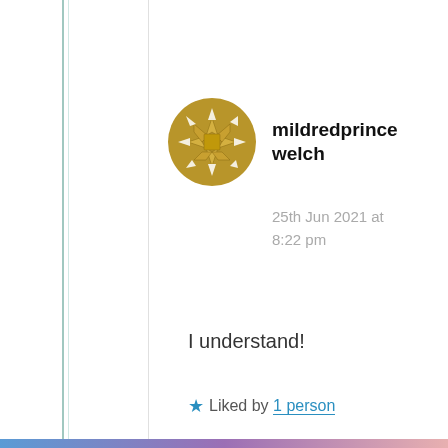[Figure (illustration): Golden/yellow circular avatar with star-like geometric icon for user mildredprincewelch]
mildredprince welch
25th Jun 2021 at 8:22 pm
I understand!
★ Liked by 1 person
Privacy & Cookies: This site uses cookies. By continuing to use this website, you agree to their use.
To find out more, including how to control cookies, see here: Cookie Policy
Close and accept